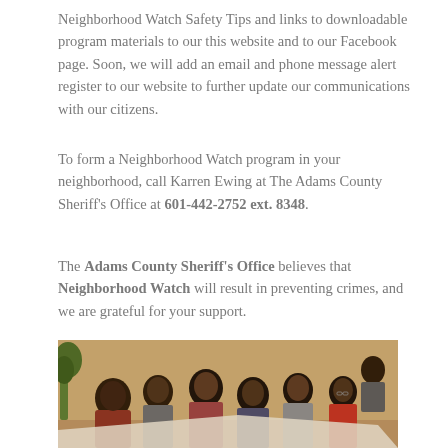Neighborhood Watch Safety Tips and links to downloadable program materials to our this website and to our Facebook page. Soon, we will add an email and phone message alert register to our website to further update our communications with our citizens.
To form a Neighborhood Watch program in your neighborhood, call Karren Ewing at The Adams County Sheriff's Office at 601-442-2752 ext. 8348.
The Adams County Sheriff's Office believes that Neighborhood Watch will result in preventing crimes, and we are grateful for your support.
[Figure (photo): A group of people seated and gathered together, likely at a community meeting related to the Neighborhood Watch program.]